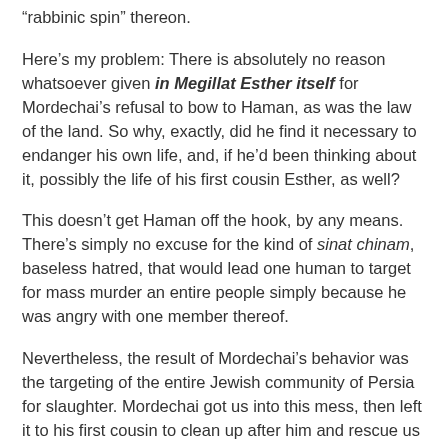“rabbinic spin” thereon.
Here’s my problem: There is absolutely no reason whatsoever given in Megillat Esther itself for Mordechai’s refusal to bow to Haman, as was the law of the land. So why, exactly, did he find it necessary to endanger his own life, and, if he’d been thinking about it, possibly the life of his first cousin Esther, as well?
This doesn’t get Haman off the hook, by any means. There’s simply no excuse for the kind of sinat chinam, baseless hatred, that would lead one human to target for mass murder an entire people simply because he was angry with one member thereof.
Nevertheless, the result of Mordechai’s behavior was the targeting of the entire Jewish community of Persia for slaughter. Mordechai got us into this mess, then left it to his first cousin to clean up after him and rescue us from the sword.
So here’s the final score: